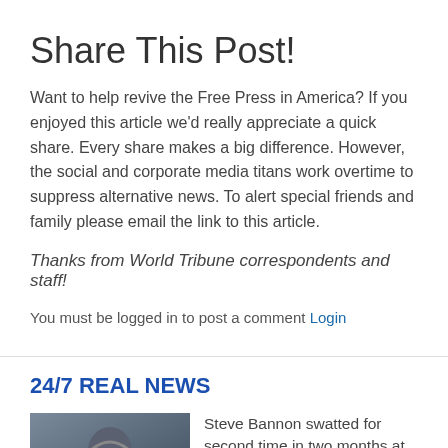Share This Post!
Want to help revive the Free Press in America? If you enjoyed this article we'd really appreciate a quick share. Every share makes a big difference. However, the social and corporate media titans work overtime to suppress alternative news. To alert special friends and family please email the link to this article.
Thanks from World Tribune correspondents and staff!
You must be logged in to post a comment Login
24/7 REAL NEWS
Steve Bannon swatted for second time in two months at
[Figure (photo): News thumbnail showing a person with text overlay reading 'STORY', 'PEN TO LOOK', 'LLION BUDGET', 'DE THROUGH', 'FEB', 'NEWT']